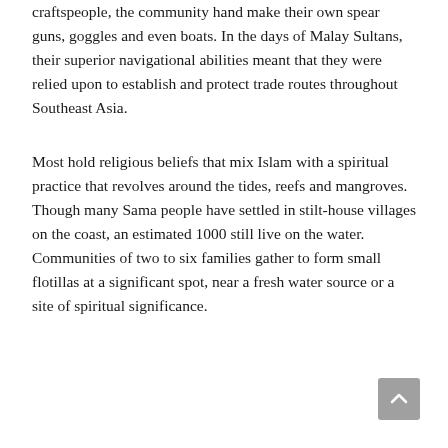craftspeople, the community hand make their own spear guns, goggles and even boats. In the days of Malay Sultans, their superior navigational abilities meant that they were relied upon to establish and protect trade routes throughout Southeast Asia.
Most hold religious beliefs that mix Islam with a spiritual practice that revolves around the tides, reefs and mangroves. Though many Sama people have settled in stilt-house villages on the coast, an estimated 1000 still live on the water. Communities of two to six families gather to form small flotillas at a significant spot, near a fresh water source or a site of spiritual significance.